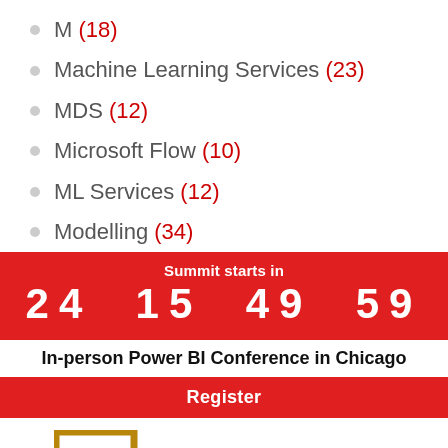M (18)
Machine Learning Services (23)
MDS (12)
Microsoft Flow (10)
ML Services (12)
Modelling (34)
Summit starts in
24  15  49  59
In-person Power BI Conference in Chicago
Register
[Figure (logo): Data Insight Summit logo with golden bar chart icon and text DATA INSIGHT SUMMIT]